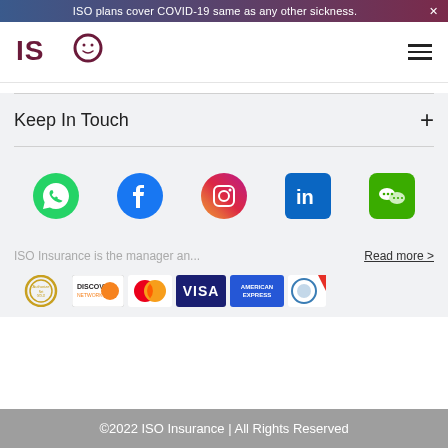ISO plans cover COVID-19 same as any other sickness.
[Figure (logo): ISO Insurance logo with stylized figure icon]
Keep In Touch
[Figure (infographic): Social media icons row: WhatsApp, Facebook, Instagram, LinkedIn, WeChat]
ISO Insurance is the manager an...
Read more >
[Figure (infographic): Payment method logos: Authorize.Net, Discover, MasterCard, Visa, American Express, Covomo]
©2022 ISO Insurance | All Rights Reserved